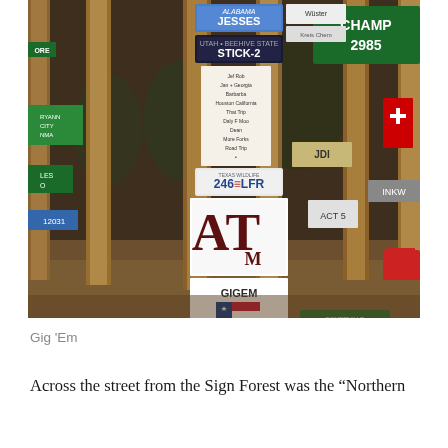[Figure (photo): Photo of a Sign Forest: wooden posts covered with license plates, directional signs, and handwritten notes. Visible signs include 'JESSES' (Alabama plate), 'STICK-2', '246 LFR', an ATM Texas A&M sign, 'GIG EM' with Texas flag, 'CHAMP 2985', 'DOMERVILLE GRAPEVOD', and many other miscellaneous signs nailed to tall wooden posts outdoors.]
Gig 'Em
Across the street from the Sign Forest was the "Northern